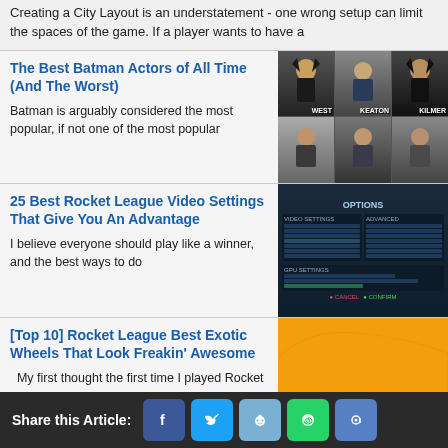Creating a City Layout is an understatement - one wrong setup can limit the spaces of the game. If a player wants to have a
The Best Batman Actors of All Time (And The Worst)
Batman is arguably considered the most popular, if not one of the most popular
[Figure (photo): Grid of Batman actors: West, Keaton, Kilmer and others]
25 Best Rocket League Video Settings That Give You An Advantage
I believe everyone should play like a winner, and the best ways to do
[Figure (screenshot): Rocket League video settings screen]
[Top 10] Rocket League Best Exotic Wheels That Look Freakin' Awesome
My first thought the first time I played Rocket
[Figure (photo): Rocket League car with exotic wheels, orange vehicle close-up]
Share this Article: